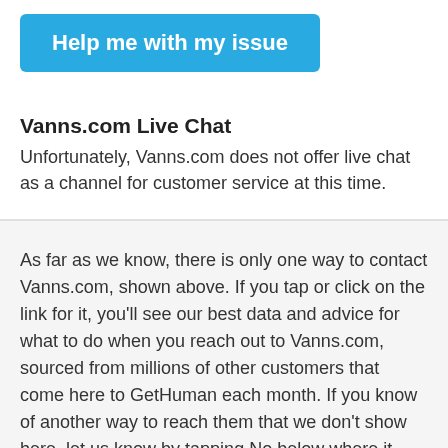[Figure (other): Blue button labeled 'Help me with my issue']
Vanns.com Live Chat
Unfortunately, Vanns.com does not offer live chat as a channel for customer service at this time.
As far as we know, there is only one way to contact Vanns.com, shown above. If you tap or click on the link for it, you'll see our best data and advice for what to do when you reach out to Vanns.com, sourced from millions of other customers that come here to GetHuman each month. If you know of another way to reach them that we don't show here, let us know by tapping No below where it asks if this page is helpful, and giving us your feedback.